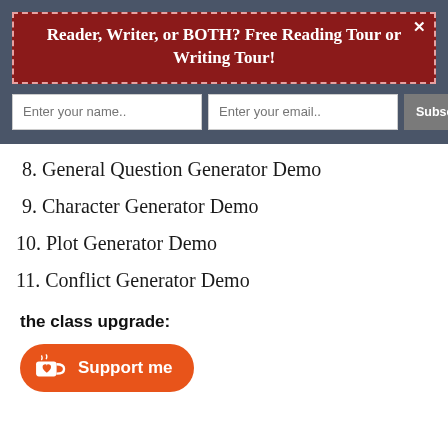Reader, Writer, or BOTH? Free Reading Tour or Writing Tour!
8. General Question Generator Demo
9. Character Generator Demo
10. Plot Generator Demo
11. Conflict Generator Demo
the class upgrade:
[Figure (other): Orange 'Support me' button with Ko-fi cup icon]